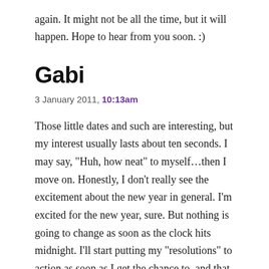again. It might not be all the time, but it will happen. Hope to hear from you soon. :)
Gabi
3 January 2011, 10:13am
Those little dates and such are interesting, but my interest usually lasts about ten seconds. I may say, “Huh, how neat” to myself…then I move on. Honestly, I don’t really see the excitement about the new year in general. I’m excited for the new year, sure. But nothing is going to change as soon as the clock hits midnight. I’ll start putting my “resolutions” to action as soon as I get the chance to, and that